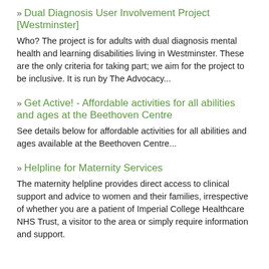» Dual Diagnosis User Involvement Project [Westminster]
Who? The project is for adults with dual diagnosis mental health and learning disabilities living in Westminster. These are the only criteria for taking part; we aim for the project to be inclusive. It is run by The Advocacy...
» Get Active! - Affordable activities for all abilities and ages at the Beethoven Centre
See details below for affordable activities for all abilities and ages available at the Beethoven Centre...
» Helpline for Maternity Services
The maternity helpline provides direct access to clinical support and advice to women and their families, irrespective of whether you are a patient of Imperial College Healthcare NHS Trust, a visitor to the area or simply require information and support.